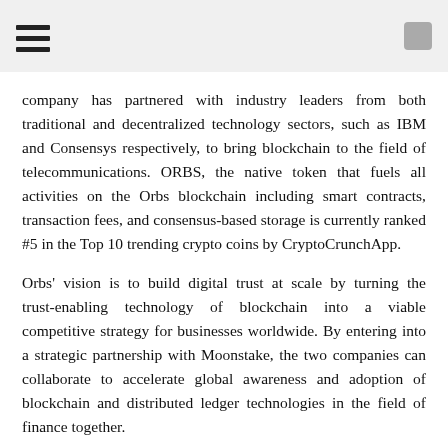[hamburger menu icon] [square icon]
company has partnered with industry leaders from both traditional and decentralized technology sectors, such as IBM and Consensys respectively, to bring blockchain to the field of telecommunications. ORBS, the native token that fuels all activities on the Orbs blockchain including smart contracts, transaction fees, and consensus-based storage is currently ranked #5 in the Top 10 trending crypto coins by CryptoCrunchApp.
Orbs' vision is to build digital trust at scale by turning the trust-enabling technology of blockchain into a viable competitive strategy for businesses worldwide. By entering into a strategic partnership with Moonstake, the two companies can collaborate to accelerate global awareness and adoption of blockchain and distributed ledger technologies in the field of finance together.
Mitsuru Tezuka, Founder at Moonstake says: “We are very pleased to be a partner with Orbs, the biggest blockchain company in Israel. Moonstake provides easy